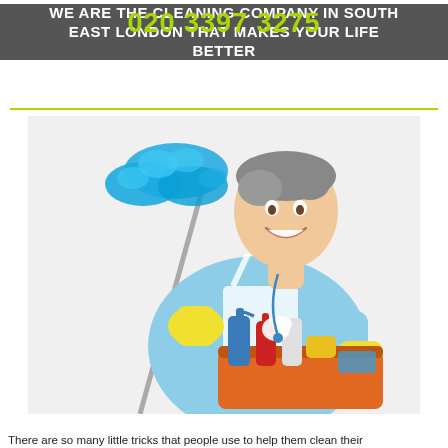WE ARE THE CLEANING COMPANY IN SOUTH EAST LONDON THAT MAKES YOUR LIFE BETTER
[Figure (photo): A smiling man wearing a light blue shirt and white apron, holding a blue duster mop in one hand and a basket full of cleaning supplies (spray bottles, sponges, cloths) in the other hand, wearing yellow rubber gloves.]
There are so many little tricks that people use to help them clean their